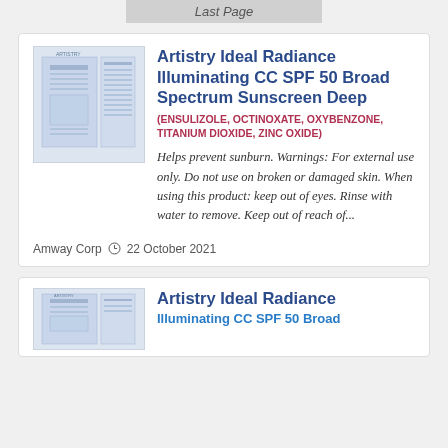Last Page
Artistry Ideal Radiance Illuminating CC SPF 50 Broad Spectrum Sunscreen Deep
(ENSULIZOLE, OCTINOXATE, OXYBENZONE, TITANIUM DIOXIDE, ZINC OXIDE)
Helps prevent sunburn. Warnings: For external use only. Do not use on broken or damaged skin. When using this product: keep out of eyes. Rinse with water to remove. Keep out of reach of...
Amway Corp  22 October 2021
Artistry Ideal Radiance Illuminating CC SPF 50 Broad